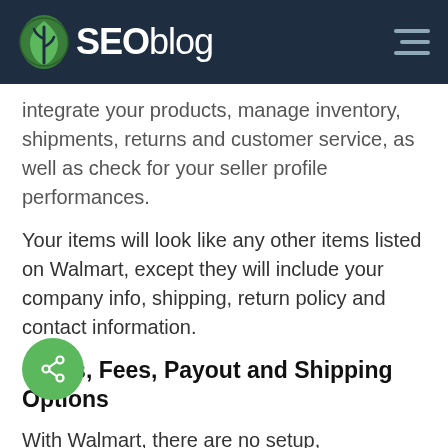SEOblog
integrate your products, manage inventory, shipments, returns and customer service, as well as check for your seller profile performances.
Your items will look like any other items listed on Walmart, except they will include your company info, shipping, return policy and contact information.
Costs, Fees, Payout and Shipping Options
With Walmart, there are no setup, subscription or monthly fees. A referral/commission fee is deducted once a sale occurs on its website, and that is everything about basic fees. Percentages vary based on category, but the range is usually between 8 percent and 15 percent. Since you have fees only